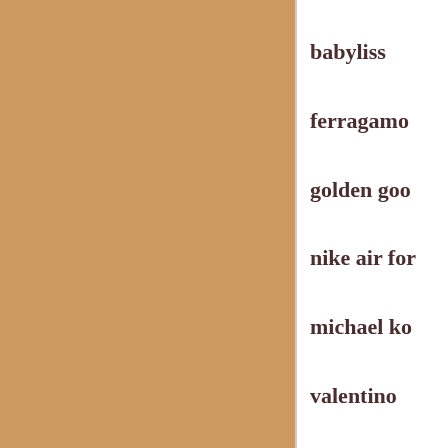[Figure (other): Solid tan/caramel color swatch block on the left side of the page]
babyliss
ferragamo
golden goo
nike air for
michael ko
valentino